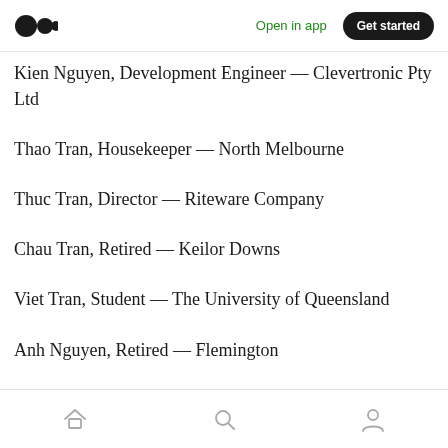Medium logo | Open in app | Get started
Kien Nguyen, Development Engineer — Clevertronic Pty Ltd
Thao Tran, Housekeeper — North Melbourne
Thuc Tran, Director — Riteware Company
Chau Tran, Retired — Keilor Downs
Viet Tran, Student — The University of Queensland
Anh Nguyen, Retired — Flemington
Home | Search | Profile